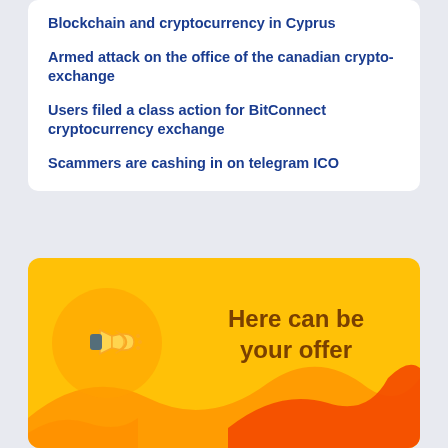Blockchain and cryptocurrency in Cyprus
Armed attack on the office of the canadian crypto-exchange
Users filed a class action for BitConnect cryptocurrency exchange
Scammers are cashing in on telegram ICO
[Figure (infographic): Yellow advertisement banner with a megaphone icon on an orange circle background, text reading 'Here can be your offer', with orange wave shapes at the bottom.]